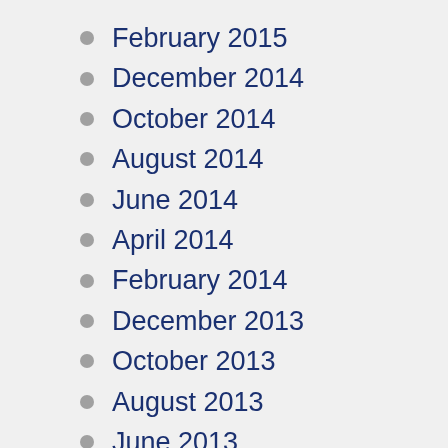February 2015
December 2014
October 2014
August 2014
June 2014
April 2014
February 2014
December 2013
October 2013
August 2013
June 2013
May 2013
February 2013
December 2012
October 2012